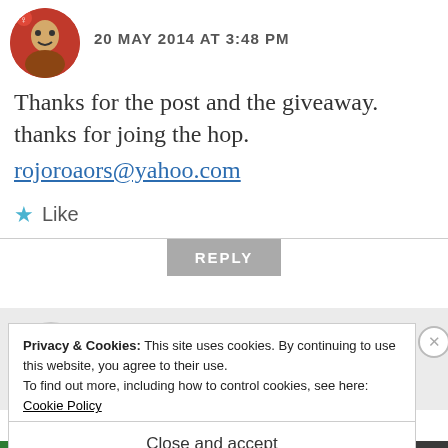20 MAY 2014 AT 3:48 PM
Thanks for the post and the giveaway. thanks for joing the hop.
rojoroaors@yahoo.com
Like
REPLY
annabutlerfiction
Privacy & Cookies: This site uses cookies. By continuing to use this website, you agree to their use.
To find out more, including how to control cookies, see here: Cookie Policy
Close and accept